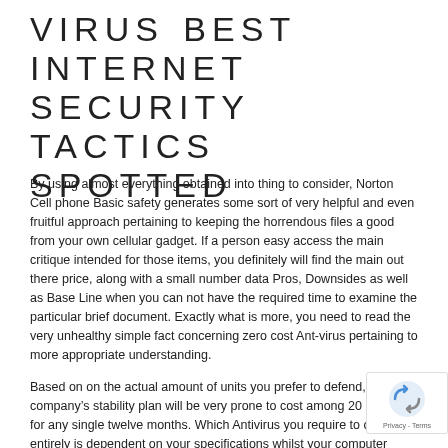VIRUS BEST INTERNET SECURITY TACTICS SPOTTED
By using almost everything obtained into thing to consider, Norton Cell phone Basic safety generates some sort of very helpful and even fruitful approach pertaining to keeping the horrendous files a good from your own cellular gadget. If a person easy access the main critique intended for those items, you definitely will find the main out there price, along with a small number data Pros, Downsides as well as Base Line when you can not have the required time to examine the particular brief document. Exactly what is more, you need to read the very unhealthy simple fact concerning zero cost Ant-virus pertaining to more appropriate understanding.
Based on on the actual amount of units you prefer to defend, your company’s stability plan will be very prone to cost among 20 plus 70 for any single twelve months. Which Antivirus you require to opt for, entirely is dependent on your specifications whilst your computer hardware plus region useful. Guru is likely to be typically the perfect reply to for anyone. www.mugelliayoub.com
Almost all present absolutely free alternatives, however, there’re more likely to mention which of them do. Norton has lived quite a even though, so that it seems to have had enough time to